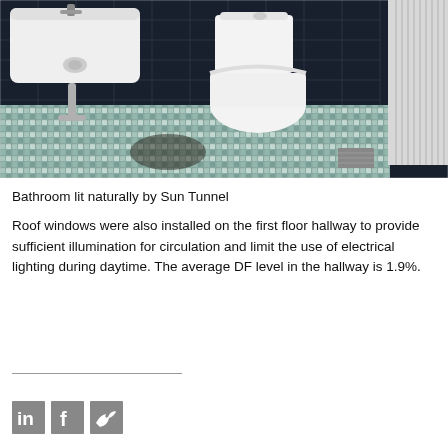[Figure (photo): Bathroom interior lit naturally by a Sun Tunnel skylight. Features a white wall-mounted sink on the left, a white toilet in the center-background, a white panel radiator on the right, dark navy/black wall tiles, and a mosaic patterned floor with light blue-green and grey tones.]
Bathroom lit naturally by Sun Tunnel
Roof windows were also installed on the first floor hallway to provide sufficient illumination for circulation and limit the use of electrical lighting during daytime. The average DF level in the hallway is 1.9%.
[Figure (logo): Social media icons row: LinkedIn, Facebook, Twitter (bird icon)]